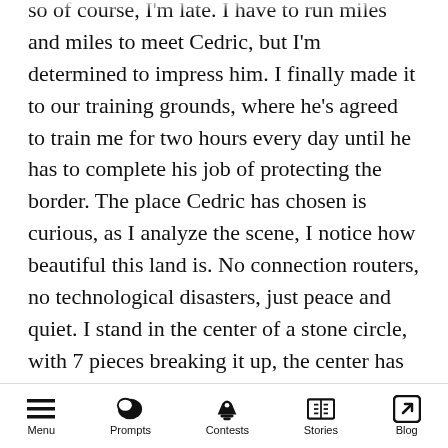so of course, I'm late. I have to run miles and miles to meet Cedric, but I'm determined to impress him. I finally made it to our training grounds, where he's agreed to train me for two hours every day until he has to complete his job of protecting the border. The place Cedric has chosen is curious, as I analyze the scene, I notice how beautiful this land is. No connection routers, no technological disasters, just peace and quiet. I stand in the center of a stone circle, with 7 pieces breaking it up, the center has some kind of foreign symbol as the message for whatever this shape is attempting to tell. I'm surrounded by peach and guava trees, adding
Menu  Prompts  Contests  Stories  Blog